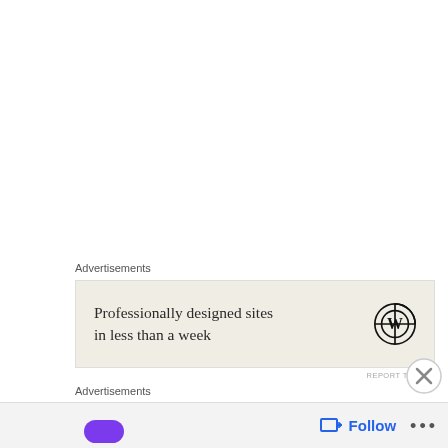Advertisements
[Figure (screenshot): WordPress advertisement banner with beige background showing text 'Professionally designed sites in less than a week' and WordPress logo]
REPORT THIS AD
[Figure (logo): Close/dismiss button (X circle icon)]
Advertisements
[Figure (screenshot): Advertisement banner showing colorful pill-shaped icons on left, SHOP button with border, and red circular icon on right]
Follow ...